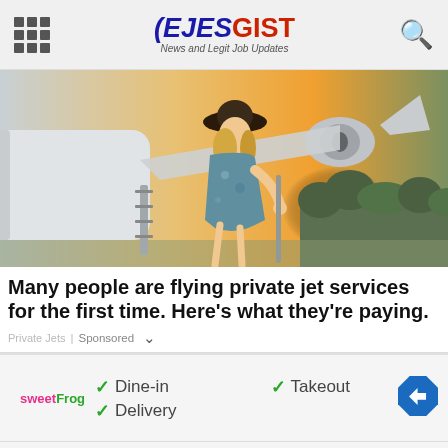EJESGIST News and Legit Job Updates
[Figure (photo): Woman in a hat and floral dress boarding a private jet at sunset, with glowing sun and trees in background]
Many people are flying private jet services for the first time. Here's what they're paying.
Private Jets | Sponsored
[Figure (infographic): Advertisement for sweetFrog with checkmarks for Dine-in, Takeout, and Delivery options, with a navigation arrow icon]